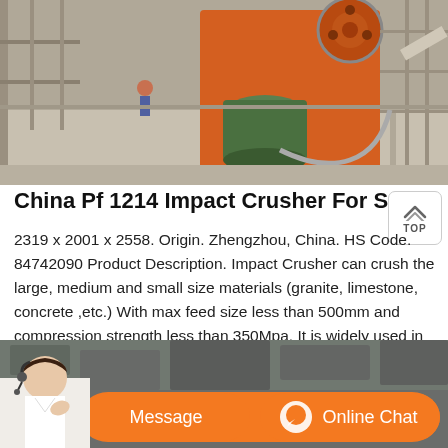[Figure (photo): Industrial crusher machinery at a quarry or construction site, with orange mechanical components, workers visible, scaffolding and conveyor structures in background.]
China Pf 1214 Impact Crusher For Sale China Limestone
2319 x 2001 x 2558. Origin. Zhengzhou, China. HS Code. 84742090 Product Description. Impact Crusher can crush the large, medium and small size materials (granite, limestone, concrete ,etc.) With max feed size less than 500mm and compression strength less than 350Mpa. It is widely used in metallurgy, mine, cement, chemical engineering, fire ...
[Figure (photo): Bottom portion showing a quarry/stone background with an orange chat bar overlay. A customer service agent (woman with headset) is visible at the bottom left. Two orange buttons labeled 'Message' and 'Online Chat' are shown.]